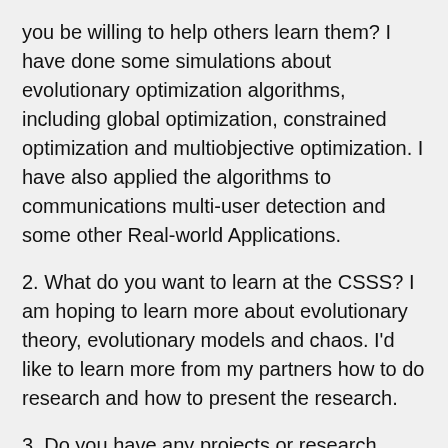you be willing to help others learn them? I have done some simulations about evolutionary optimization algorithms, including global optimization, constrained optimization and multiobjective optimization. I have also applied the algorithms to communications multi-user detection and some other Real-world Applications.
2. What do you want to learn at the CSSS? I am hoping to learn more about evolutionary theory, evolutionary models and chaos. I'd like to learn more from my partners how to do research and how to present the research.
3. Do you have any projects or research interests that would benefit from an interdisciplinary approach? Computational intelligence methods inspired from evolutionism, immunology or nerosciences.
4. Do you have any ideas for what sort of project you would like to do this summer? I want to do something